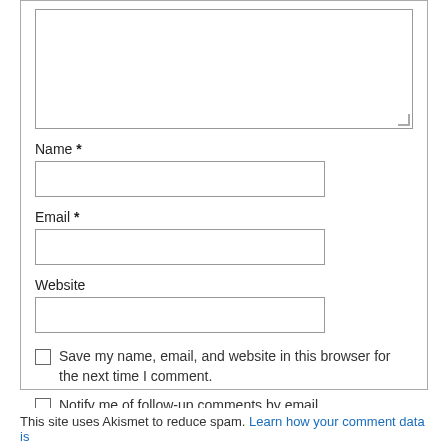[Figure (screenshot): Partial comment form with textarea (partially visible at top), Name field with label and text input, Email field with label and text input, Website field with label and text input, three checkboxes with labels, and a Post Comment button.]
Name *
Email *
Website
Save my name, email, and website in this browser for the next time I comment.
Notify me of follow-up comments by email.
Notify me of new posts by email.
Post Comment
This site uses Akismet to reduce spam. Learn how your comment data is